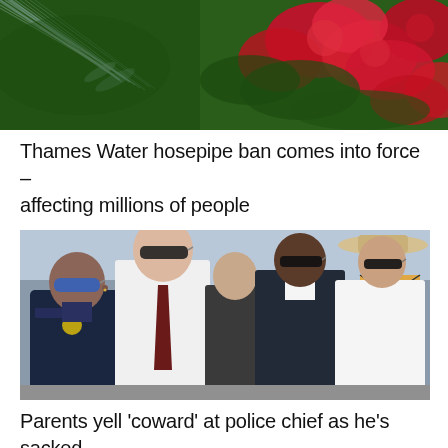[Figure (photo): Close-up photo of red/pink roses being watered with a hose, water spray visible from top-left, green foliage in background.]
Thames Water hosepipe ban comes into force – affecting millions of people
[Figure (photo): Group of men standing outdoors in sunlight. A police officer in dark uniform with 'POLICE' patch and sunglasses stands on the left, next to a tall man in white shirt and dark tie, followed by others including a man in a dark suit and a man in a white shirt and cowboy hat. Trucks and street scene visible in background.]
Parents yell 'coward' at police chief as he's sacked